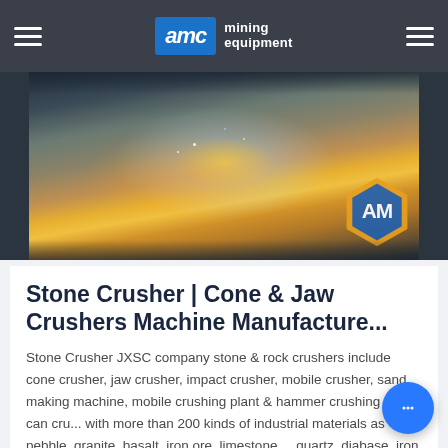AMC mining equipment
[Figure (photo): Worker welding a large metal component with sparks flying; AMC logo visible in background]
Stone Crusher | Cone & Jaw Crushers Machine Manufacture...
Stone Crusher JXSC company stone & rock crushers include cone crusher, jaw crusher, impact crusher, mobile crusher, sand making machine, mobile crushing plant & hammer crushing which can cru... with more than 200 kinds of industrial materials as pebble, granite, basalt, iron ore, limestone,... quartz, diabase, iron ore, gold, copper, etc. Primary...